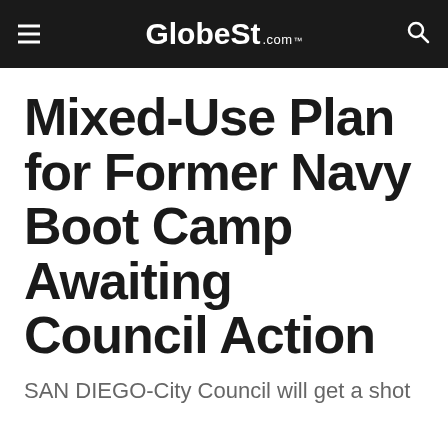GlobeSt.com™
Mixed-Use Plan for Former Navy Boot Camp Awaiting Council Action
SAN DIEGO-City Council will get a shot